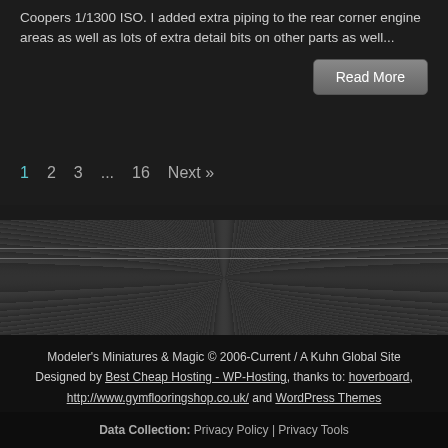Coopers 1/1300 ISO. I added extra piping to the rear corner engine areas as well as lots of extra detail bits on other parts as well...
Read More
1  2  3  ...  16  Next »
Modeler's Miniatures & Magic © 2006-Current / A Kuhn Global Site Designed by Best Cheap Hosting - WP-Hosting, thanks to: hoverboard, http://www.gymflooringshop.co.uk/ and WordPress Themes
Data Collection: Privacy Policy | Privacy Tools